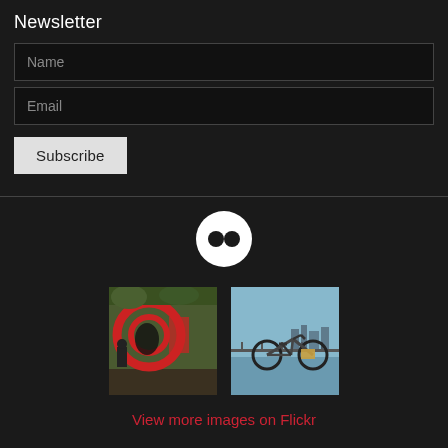Newsletter
Name
Email
Subscribe
[Figure (logo): Flickr logo: white circle with two dark dots representing Flickr brand icon]
[Figure (photo): Photo of a graffiti mural on a wall with red and black circular designs, people visible in the background]
[Figure (photo): Photo of a bicycle parked near a waterfront railing with city skyline in the background]
View more images on Flickr